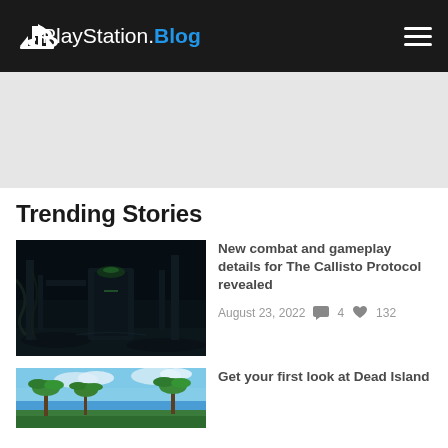PlayStation.Blog
[Figure (other): Gray advertisement banner placeholder area]
Trending Stories
[Figure (screenshot): Dark atmospheric game screenshot from The Callisto Protocol showing a dimly lit corridor with machinery and green lighting]
New combat and gameplay details for The Callisto Protocol revealed
August 23, 2022  4  132
[Figure (screenshot): Bright tropical scene from Dead Island showing palm trees against a blue sky]
Get your first look at Dead Island